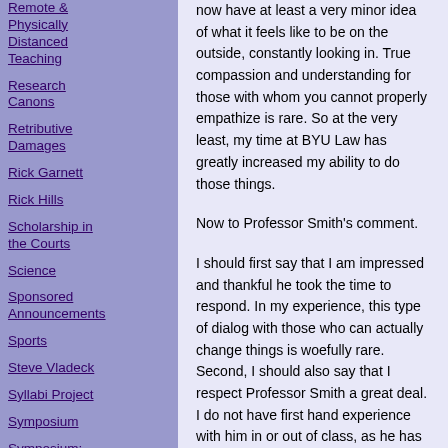Remote & Physically Distanced Teaching
Research Canons
Retributive Damages
Rick Garnett
Rick Hills
Scholarship in the Courts
Science
Sponsored Announcements
Sports
Steve Vladeck
Syllabi Project
Symposium
Symposium: Legal
now have at least a very minor idea of what it feels like to be on the outside, constantly looking in. True compassion and understanding for those with whom you cannot properly empathize is rare. So at the very least, my time at BYU Law has greatly increased my ability to do those things.
Now to Professor Smith's comment.
I should first say that I am impressed and thankful he took the time to respond. In my experience, this type of dialog with those who can actually change things is woefully rare. Second, I should also say that I respect Professor Smith a great deal. I do not have first hand experience with him in or out of class, as he has only been teaching at BYU Law for one year. Nonetheless, I hear great things from my fellow students. And my impression (again, second-hand) is that he is one of "good ones"; i.e., the members of the faculty/administration who do not consciously care about a student's faith.